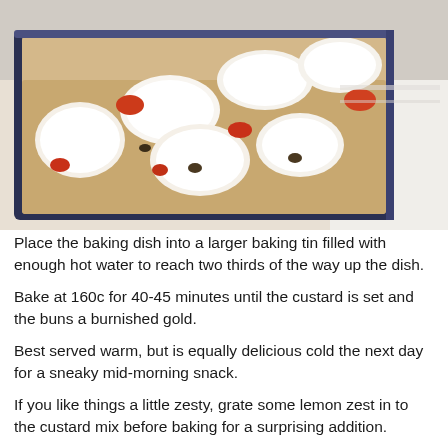[Figure (photo): A baking dish with bread pudding or bread and butter pudding topped with melted white custard/cream and red sauce, viewed from a slight angle in a glass/ceramic rectangular baking tin.]
Place the baking dish into a larger baking tin filled with enough hot water to reach two thirds of the way up the dish.
Bake at 160c for 40-45 minutes until the custard is set and the buns a burnished gold.
Best served warm, but is equally delicious cold the next day for a sneaky mid-morning snack.
If you like things a little zesty, grate some lemon zest in to the custard mix before baking for a surprising addition.